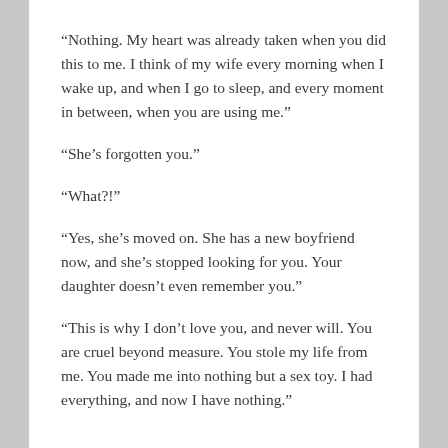“Nothing. My heart was already taken when you did this to me. I think of my wife every morning when I wake up, and when I go to sleep, and every moment in between, when you are using me.”
“She’s forgotten you.”
“What?!”
“Yes, she’s moved on. She has a new boyfriend now, and she’s stopped looking for you. Your daughter doesn’t even remember you.”
“This is why I don’t love you, and never will. You are cruel beyond measure. You stole my life from me. You made me into nothing but a sex toy. I had everything, and now I have nothing.”